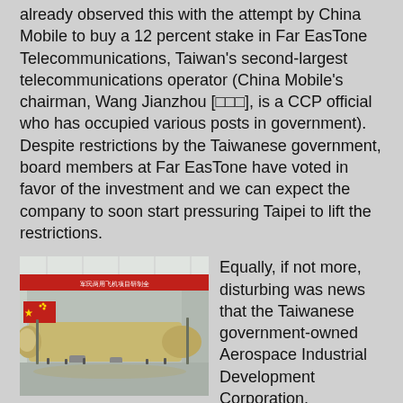already observed this with the attempt by China Mobile to buy a 12 percent stake in Far EasTone Telecommunications, Taiwan's second-largest telecommunications operator (China Mobile's chairman, Wang Jianzhou [□□□], is a CCP official who has occupied various posts in government). Despite restrictions by the Taiwanese government, board members at Far EasTone have voted in favor of the investment and we can expect the company to soon start pressuring Taipei to lift the restrictions.
[Figure (photo): Interior of a large aircraft assembly hangar. A large commercial airliner fuselage is visible under construction. A red banner with Chinese text runs across the top of the hangar. A Chinese flag (red with yellow star) hangs on the left side.]
Equally, if not more, disturbing was news that the Taiwanese government-owned Aerospace Industrial Development Corporation, which among other things designs the Ching Kuo Indigenous Defense Fighter, is proposing cooperating with the Commercial Aircraft Co of China (COMAC) to co-assemble commercial airplanes. Shareholders of COMAC